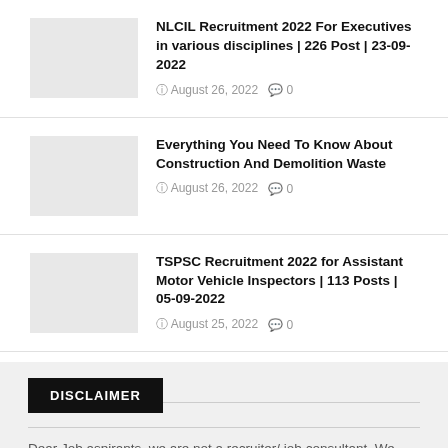NLCIL Recruitment 2022 For Executives in various disciplines | 226 Post | 23-09-2022
© August 26, 2022  ⌂ 0
Everything You Need To Know About Construction And Demolition Waste
© August 26, 2022  ⌂ 0
TSPSC Recruitment 2022 for Assistant Motor Vehicle Inspectors | 113 Posts | 05-09-2022
© August 25, 2022  ⌂ 0
DISCLAIMER
Dear Job aspirants, we are not a recruiter/ job consultant. We only post the available jobs from the internet, we are not